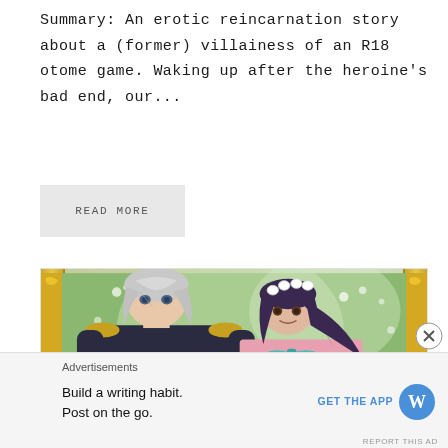Summary: An erotic reincarnation story about a (former) villainess of an R18 otome game. Waking up after the heroine's bad end, our...
READ MORE
[Figure (illustration): Manga-style illustration showing two characters: a tall male character with silver/white hair wearing a dark military-style uniform with gold trim, and a female character with dark purple/black hair wearing a flower crown and a pink outfit with a teal bow. They are posed together against a green floral background with decorative gold border elements.]
Advertisements
Build a writing habit.
Post on the go.
GET THE APP
[Figure (logo): WordPress logo - blue circle with W]